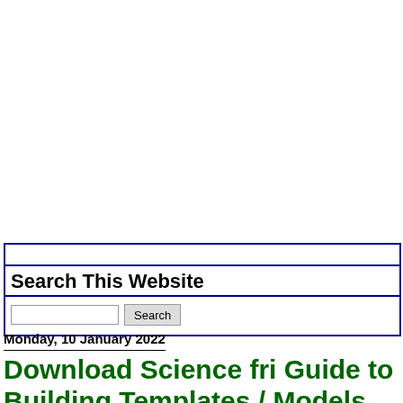Search This Website
Search
Monday, 10 January 2022
Download Science fri Guide to Building Templates / Models 2021-22